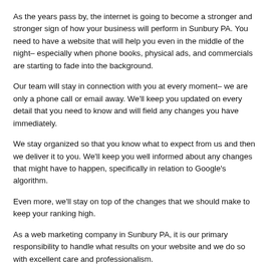As the years pass by, the internet is going to become a stronger and stronger sign of how your business will perform in Sunbury PA. You need to have a website that will help you even in the middle of the night– especially when phone books, physical ads, and commercials are starting to fade into the background.
Our team will stay in connection with you at every moment– we are only a phone call or email away. We'll keep you updated on every detail that you need to know and will field any changes you have immediately.
We stay organized so that you know what to expect from us and then we deliver it to you. We'll keep you well informed about any changes that might have to happen, specifically in relation to Google's algorithm.
Even more, we'll stay on top of the changes that we should make to keep your ranking high.
As a web marketing company in Sunbury PA, it is our primary responsibility to handle what results on your website and we do so with excellent care and professionalism.